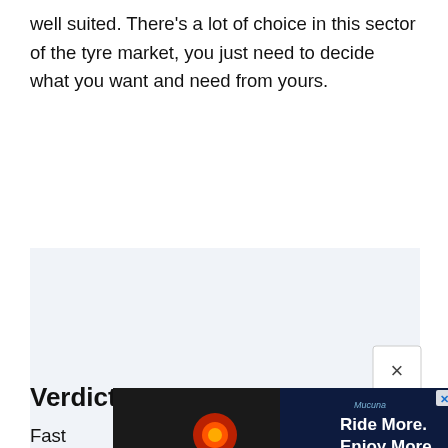well suited. There's a lot of choice in this sector of the tyre market, you just need to decide what you want and need from yours.
[Figure (other): Advertisement placeholder block with light blue-grey background]
Verdict
Fast... o, with
[Figure (screenshot): Advertisement overlay showing 'Ride More. Enjoy More' with a red glowing light on a dark background, with a close (X) button in upper right corner and a small X in the ad image.]